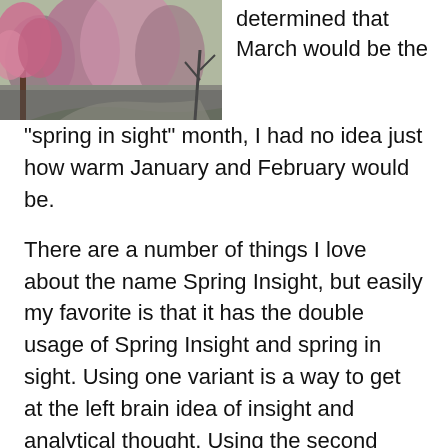[Figure (photo): Outdoor photo showing blooming pink/red trees along a path or road, with bare trees in the background and greenery, taken in spring-like conditions.]
determined that March would be the “spring in sight” month, I had no idea just how warm January and February would be.
There are a number of things I love about the name Spring Insight, but easily my favorite is that it has the double usage of Spring Insight and spring in sight. Using one variant is a way to get at the left brain idea of insight and analytical thought. Using the second variant suggests the far more right brain idea of rebirth, regeneration and the promise of a fresh start.